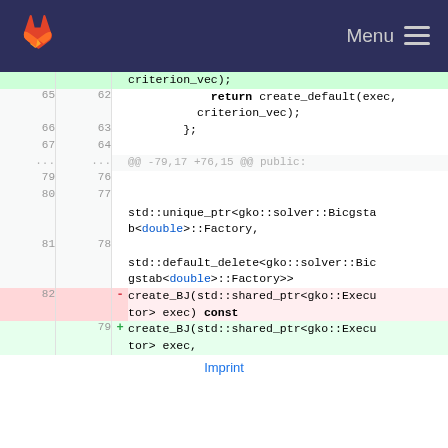GitLab Menu
[Figure (screenshot): Code diff view showing C++ source code changes in a GitLab interface. Lines 65-82 shown with additions and deletions. Removed line 82 shows create_BJ function signature with const, added line 79 shows create_BJ with exec parameter followed by comma.]
Imprint